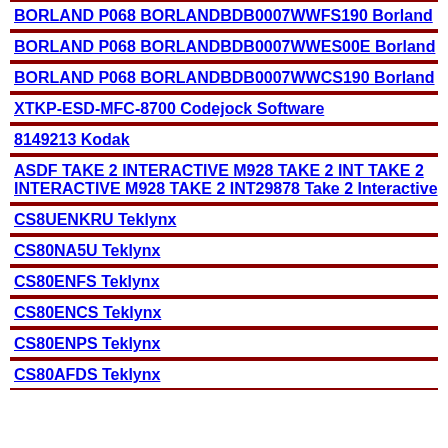BORLAND P068 BORLANDBDB0007WWFS190 Borland
BORLAND P068 BORLANDBDB0007WWES00E Borland
BORLAND P068 BORLANDBDB0007WWCS190 Borland
XTKP-ESD-MFC-8700 Codejock Software
8149213 Kodak
ASDF TAKE 2 INTERACTIVE M928 TAKE 2 INT TAKE 2 INTERACTIVE M928 TAKE 2 INT29878 Take 2 Interactive
CS8UENKRU Teklynx
CS80NA5U Teklynx
CS80ENFS Teklynx
CS80ENCS Teklynx
CS80ENPS Teklynx
CS80AFDS Teklynx